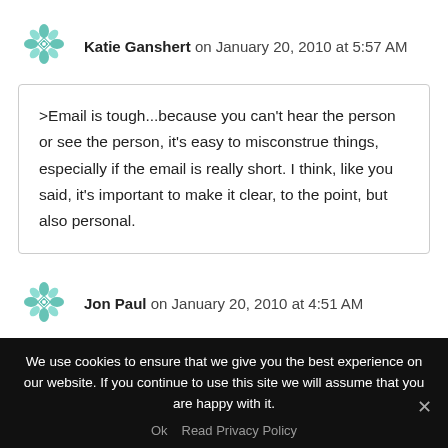[Figure (logo): Teal decorative avatar icon for Katie Ganshert]
Katie Ganshert on January 20, 2010 at 5:57 AM
>Email is tough...because you can't hear the person or see the person, it's easy to misconstrue things, especially if the email is really short. I think, like you said, it's important to make it clear, to the point, but also personal.
[Figure (logo): Teal decorative avatar icon for Jon Paul]
Jon Paul on January 20, 2010 at 4:51 AM
We use cookies to ensure that we give you the best experience on our website. If you continue to use this site we will assume that you are happy with it.
Ok   Read Privacy Policy